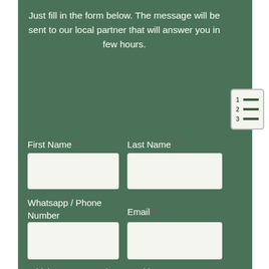Just fill in the form below. The message will be sent to our local partner that will answer you in few hours.
[Figure (infographic): Numbered list icon with 3 rows (1, 2, 3) each with a horizontal line, on a light background with border]
First Name *
Last Name *
Whatsapp / Phone Number
Email *
Which tour are you interested in ? *